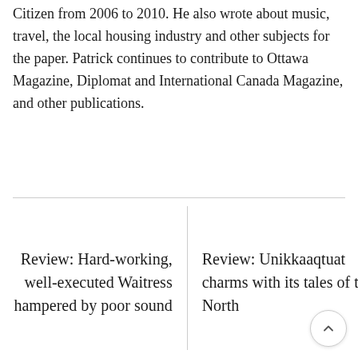Citizen from 2006 to 2010. He also wrote about music, travel, the local housing industry and other subjects for the paper. Patrick continues to contribute to Ottawa Magazine, Diplomat and International Canada Magazine, and other publications.
Review: Hard-working, well-executed Waitress hampered by poor sound
Review: Unikkaaqtuat charms with its tales of the North